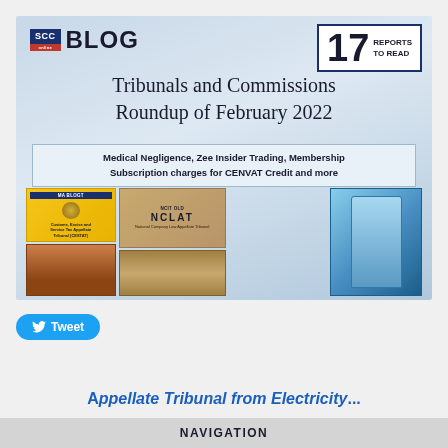[Figure (infographic): SCC Online Blog banner for Tribunals and Commissions Roundup of February 2022 with logo, 17 Reports to Read badge, subtitle bar, and collage of tribunal images (CESTAT, NCLAT, building, NCLT, SEBI)]
Tribunals and Commissions Roundup of February 2022
Medical Negligence, Zee Insider Trading, Membership Subscription charges for CENVAT Credit and more
[Figure (other): Tweet button]
Appellate Tribunal from Electricity...
NAVIGATION